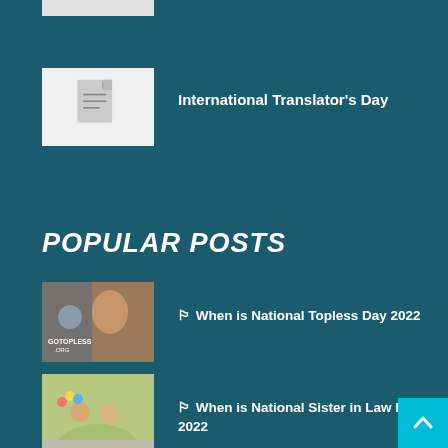[Figure (photo): Partial thumbnail image at top, cropped]
[Figure (illustration): Document/file icon placeholder thumbnail for International Translator's Day]
International Translator's Day
POPULAR POSTS
[Figure (photo): Photo of crowd with woman in protest, related to National Topless Day]
🏳 When is National Topless Day 2022
[Figure (photo): Photo of two girls with balloons, related to National Sister in Law Day]
🏳 When is National Sister in Law Day 2022
[Figure (photo): Image with GET READY text and a ginger-haired boy]
🇰🇷 When is National Kick a Ginger Day 2022